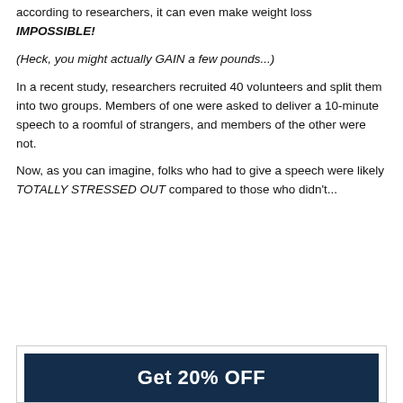according to researchers, it can even make weight loss IMPOSSIBLE!
(Heck, you might actually GAIN a few pounds...)
In a recent study, researchers recruited 40 volunteers and split them into two groups. Members of one were asked to deliver a 10-minute speech to a roomful of strangers, and members of the other were not.
Now, as you can imagine, folks who had to give a speech were likely TOTALLY STRESSED OUT compared to those who didn't...
[Figure (infographic): Advertisement banner with dark navy blue button reading 'Get 20% OFF']